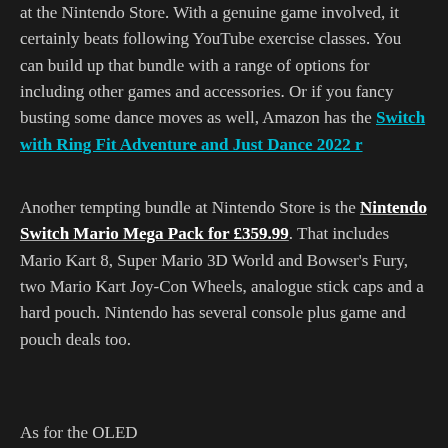at the Nintendo Store. With a genuine game involved, it certainly beats following YouTube exercise classes. You can build up that bundle with a range of options for including other games and accessories. Or if you fancy busting some dance moves as well, Amazon has the Switch with Ring Fit Adventure and Just Dance 2022 r…
Another tempting bundle at Nintendo Store is the Nintendo Switch Mario Mega Pack for £359.99. That includes Mario Kart 8, Super Mario 3D World and Bowser's Fury, two Mario Kart Joy-Con Wheels, analogue stick caps and a hard pouch. Nintendo has several console plus game and pouch deals too.
As for the OLED…